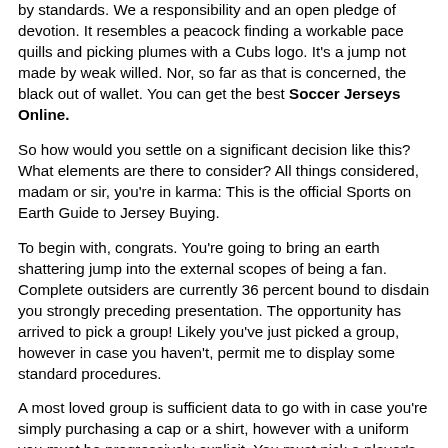by standards. We a responsibility and an open pledge of devotion. It resembles a peacock finding a workable pace quills and picking plumes with a Cubs logo. It's a jump not made by weak willed. Nor, so far as that is concerned, the black out of wallet. You can get the best Soccer Jerseys Online.
So how would you settle on a significant decision like this? What elements are there to consider? All things considered, madam or sir, you're in karma: This is the official Sports on Earth Guide to Jersey Buying.
To begin with, congrats. You're going to bring an earth shattering jump into the external scopes of being a fan. Complete outsiders are currently 36 percent bound to disdain you strongly preceding presentation. The opportunity has arrived to pick a group! Likely you've just picked a group, however in case you haven't, permit me to display some standard procedures.
A most loved group is sufficient data to go with in case you're simply purchasing a cap or a shirt, however with a uniform you must be progressively explicit. You must pick a player's name and number (clear garbs are for the frail and won't be examined here). Remember, this current player's name and number will be on your uniform perpetually, and you will be